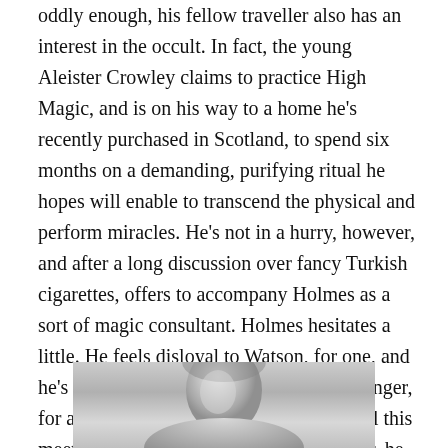oddly enough, his fellow traveller also has an interest in the occult. In fact, the young Aleister Crowley claims to practice High Magic, and is on his way to a home he's recently purchased in Scotland, to spend six months on a demanding, purifying ritual he hopes will enable to transcend the physical and perform miracles. He's not in a hurry, however, and after a long discussion over fancy Turkish cigarettes, offers to accompany Holmes as a sort of magic consultant. Holmes hesitates a little. He feels disloyal to Watson, for one, and he's loathe to subject the young man to danger, for another.  He wonders how coincidental this meeting actually was. In the end, however, he decides that two are safer than one, and is confident in his ability to rid himself of Crowley, should that prove necessary.
[Figure (photo): Black and white photograph partially visible at bottom of page, showing a person (likely a portrait/headshot)]